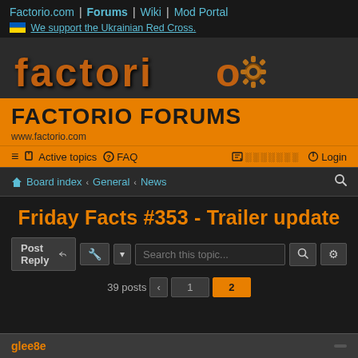Factorio.com | Forums | Wiki | Mod Portal
🇺🇦 We support the Ukrainian Red Cross.
[Figure (logo): Factorio game logo in orange stylized font with gear icon]
FACTORIO FORUMS
www.factorio.com
≡  Active topics  ? FAQ  [edit icon] ░░░░░░░  ⏻ Login
⌂ Board index ‹ General ‹ News
Friday Facts #353 - Trailer update
Post Reply  🔧 |▾  Search this topic...  🔍  ⚙
39 posts  ‹  1  2
glee8e